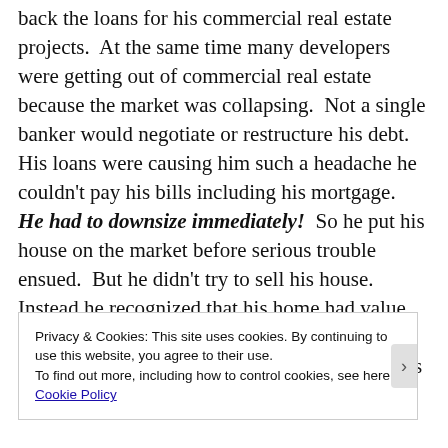back the loans for his commercial real estate projects. At the same time many developers were getting out of commercial real estate because the market was collapsing. Not a single banker would negotiate or restructure his debt. His loans were causing him such a headache he couldn't pay his bills including his mortgage. He had to downsize immediately! So he put his house on the market before serious trouble ensued. But he didn't try to sell his house. Instead he recognized that his home had value and if he could find a suitable renter, it would allow him to return to his house after getting his financial situation in order. He
Privacy & Cookies: This site uses cookies. By continuing to use this website, you agree to their use.
To find out more, including how to control cookies, see here:
Cookie Policy
Close and accept